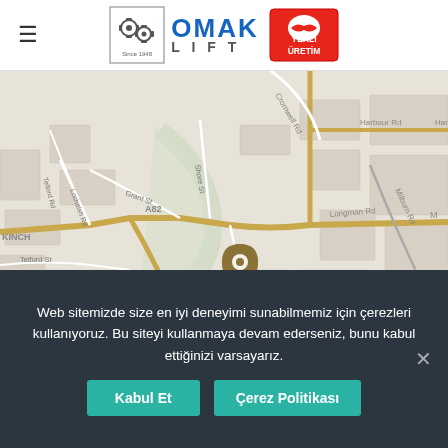[Figure (logo): OMAK LIFT logo with gear icon and Since 1948 text, plus Yerli Üretim badge]
[Figure (map): Street map showing Inverness area with roads including A82, Harbour Rd, Longman Rd, Grant St, Shore St, Milburn Rd, Telford Rd, Lochalsh Rd, Telford St, Cromwell Rd, with a gold location pin marker at Inverness]
Web sitemizde size en iyi deneyimi sunabilmemiz için çerezleri kullanıyoruz. Bu siteyi kullanmaya devam ederseniz, bunu kabul ettiğinizi varsayarız.
Kabul Et
Çerez Politikası